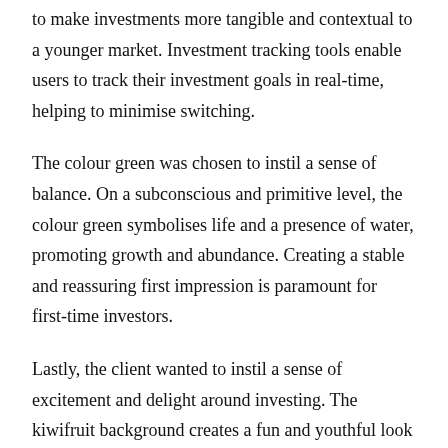to make investments more tangible and contextual to a younger market. Investment tracking tools enable users to track their investment goals in real-time, helping to minimise switching.
The colour green was chosen to instil a sense of balance. On a subconscious and primitive level, the colour green symbolises life and a presence of water, promoting growth and abundance. Creating a stable and reassuring first impression is paramount for first-time investors.
Lastly, the client wanted to instil a sense of excitement and delight around investing. The kiwifruit background creates a fun and youthful look while paying homage to the wealth manager's local origins.